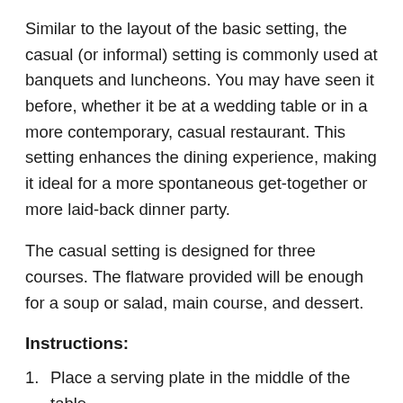Similar to the layout of the basic setting, the casual (or informal) setting is commonly used at banquets and luncheons. You may have seen it before, whether it be at a wedding table or in a more contemporary, casual restaurant. This setting enhances the dining experience, making it ideal for a more spontaneous get-together or more laid-back dinner party.
The casual setting is designed for three courses. The flatware provided will be enough for a soup or salad, main course, and dessert.
Instructions:
Place a serving plate in the middle of the table.